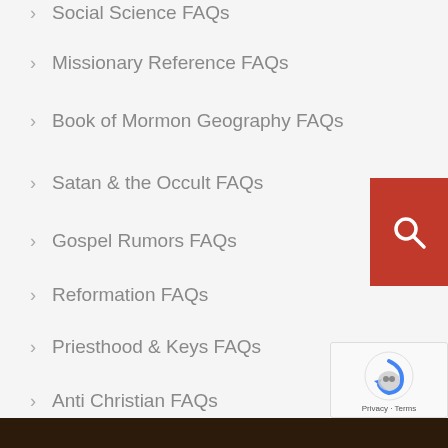Social Science FAQs
Missionary Reference FAQs
Book of Mormon Geography FAQs
Satan & the Occult FAQs
Gospel Rumors FAQs
Reformation FAQs
Priesthood & Keys FAQs
Anti Christian FAQs